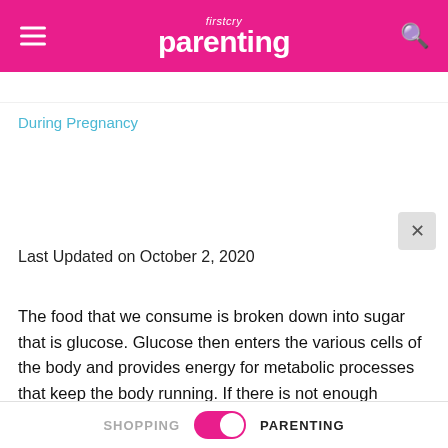firstcry Parenting
During Pregnancy
Last Updated on October 2, 2020
The food that we consume is broken down into sugar that is glucose. Glucose then enters the various cells of the body and provides energy for metabolic processes that keep the body running. If there is not enough glucose in the blood, it can lead to a condition known as 'hypoglycemia' or low blood sugar, which means the concentration of dissolved sugar in the body is below the required amounts. This can cause mild to severe complications depending on the extent
SHOPPING  PARENTING